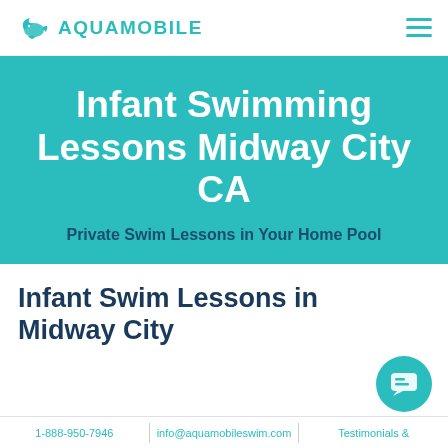AQUAMOBILE
Infant Swimming Lessons Midway City CA
Private Swim Lessons in Your Home Pool
Infant Swim Lessons in Midway City
1-888-950-7946 | info@aquamobileswim.com | Testimonials &